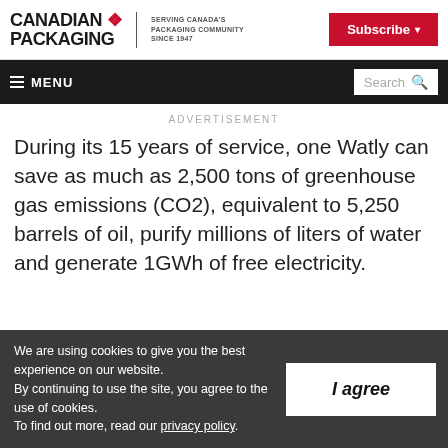CANADIAN PACKAGING — SERVING CANADA'S PACKAGING COMMUNITY SINCE 1947 | Subscribe
≡ MENU | Search
ADVERTISEMENT
During its 15 years of service, one Watly can save as much as 2,500 tons of greenhouse gas emissions (CO2), equivalent to 5,250 barrels of oil, purify millions of liters of water and generate 1GWh of free electricity.
We are using cookies to give you the best experience on our website.
By continuing to use the site, you agree to the use of cookies.
To find out more, read our privacy policy.